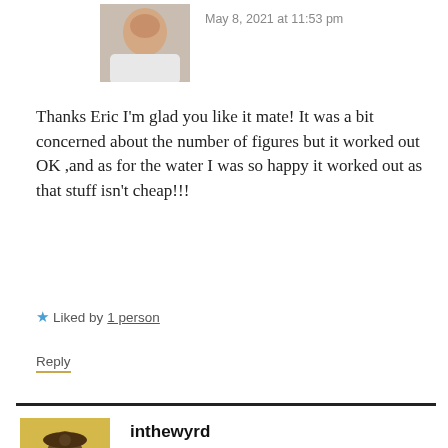[Figure (photo): Small avatar photo of a person in a white shirt, cropped portrait]
May 8, 2021 at 11:53 pm
Thanks Eric I'm glad you like it mate! It was a bit concerned about the number of figures but it worked out OK ,and as for the water I was so happy it worked out as that stuff isn't cheap!!!
★ Liked by 1 person
Reply
[Figure (photo): Avatar image of a wizard-like figure in robes with a staff, golden/yellow background]
inthewyrd
May 8, 2021 at 8:49 pm
Absolutely brilliant, work of art!